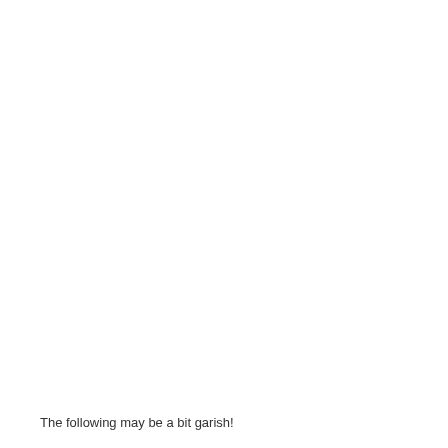The following may be a bit garish!